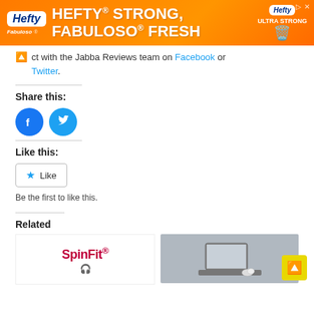[Figure (illustration): Hefty brand advertisement banner with orange background, 'HEFTY STRONG, FABULOSO FRESH' text in white, Hefty and Fabuloso logos on left, Hefty Ultra Strong trash bag image on right]
ct with the Jabba Reviews team on Facebook or Twitter.
Share this:
[Figure (illustration): Two circular social share icons: Facebook (blue circle with white F) and Twitter (light blue circle with white bird)]
Like this:
[Figure (illustration): Like button with star icon and 'Like' text in a rounded rectangle border]
Be the first to like this.
Related
[Figure (illustration): Two related content thumbnails: SpinFit logo on white background left, laptop with earbuds on gray background right. Scroll-to-top yellow button bottom right.]